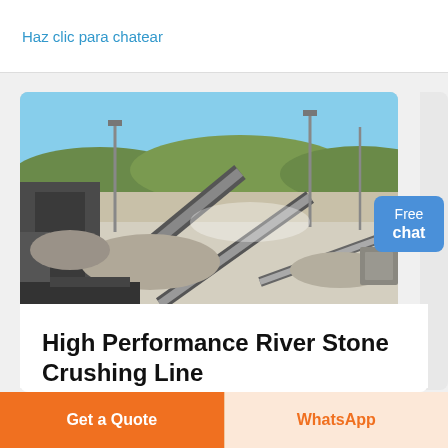Haz clic para chatear
[Figure (photo): Aerial/ground-level view of a large river stone crushing line industrial facility with conveyor belts, crushers, stone piles, and tall poles under a clear blue sky with hills in the background.]
High Performance River Stone Crushing Line
Get a Quote
WhatsApp